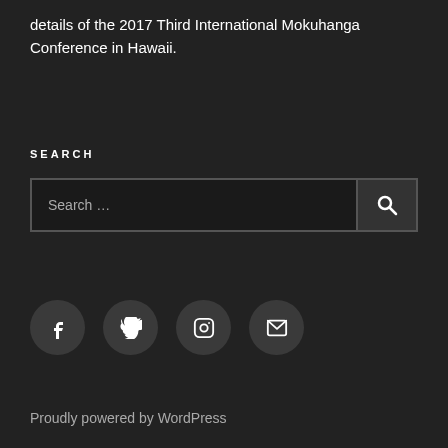details of the 2017 Third International Mokuhanga Conference in Hawaii.
SEARCH
[Figure (screenshot): Search bar with input field labeled 'Search ...' and a search button with magnifying glass icon]
[Figure (infographic): Row of four social media icon buttons: Facebook, Twitter, Instagram, Email/Mail]
Proudly powered by WordPress